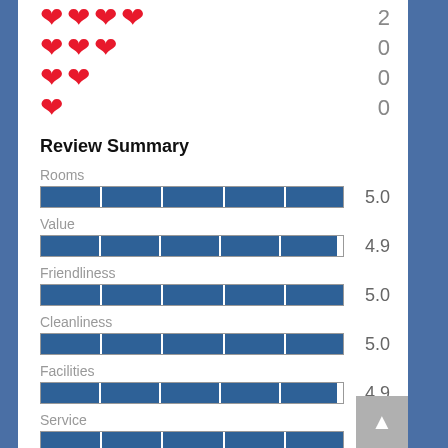[Figure (infographic): Heart rating rows: 4 hearts / count 2, 3 hearts / count 0, 2 hearts / count 0, 1 heart / count 0]
Review Summary
[Figure (bar-chart): Review Summary]